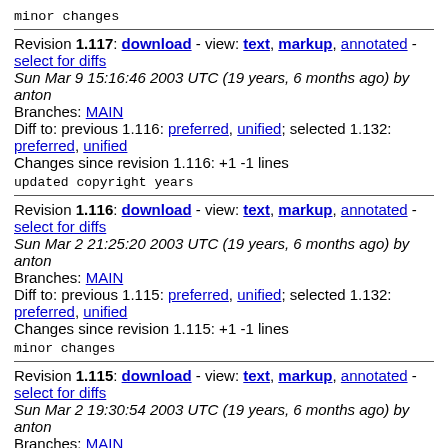minor changes
Revision 1.117: download - view: text, markup, annotated - select for diffs
Sun Mar 9 15:16:46 2003 UTC (19 years, 6 months ago) by anton
Branches: MAIN
Diff to: previous 1.116: preferred, unified; selected 1.132: preferred, unified
Changes since revision 1.116: +1 -1 lines
updated copyright years
Revision 1.116: download - view: text, markup, annotated - select for diffs
Sun Mar 2 21:25:20 2003 UTC (19 years, 6 months ago) by anton
Branches: MAIN
Diff to: previous 1.115: preferred, unified; selected 1.132: preferred, unified
Changes since revision 1.115: +1 -1 lines
minor changes
Revision 1.115: download - view: text, markup, annotated - select for diffs
Sun Mar 2 19:30:54 2003 UTC (19 years, 6 months ago) by anton
Branches: MAIN